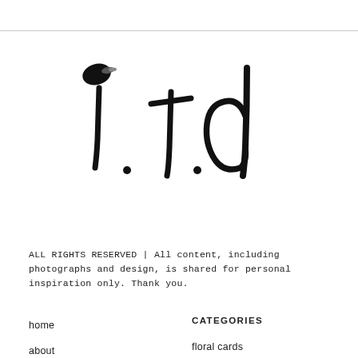[Figure (logo): Hand-lettered brush script logo reading 'i.t.d' with ink splash on the 'i']
ALL RIGHTS RESERVED | All content, including photographs and design, is shared for personal inspiration only. Thank you.
home
about
CATEGORIES
floral cards